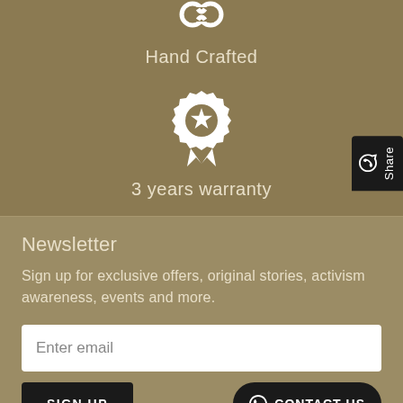[Figure (illustration): White icon of a hand-crafted/knot symbol]
Hand Crafted
[Figure (illustration): White award badge/medal icon with star and ribbon]
3 years warranty
Newsletter
Sign up for exclusive offers, original stories, activism awareness, events and more.
Enter email
SIGN UP
CONTACT US